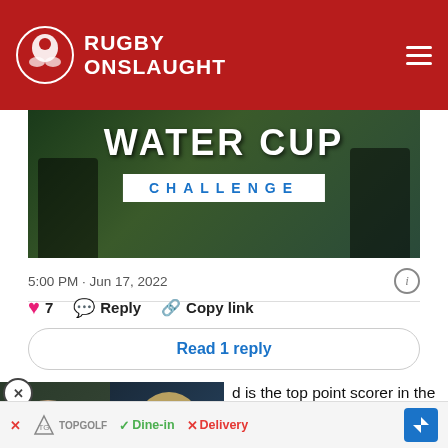RUGBY ONSLAUGHT
[Figure (photo): Banner image showing WATER CUP CHALLENGE text over rugby players background]
5:00 PM · Jun 17, 2022
7  Reply  Copy link
Read 1 reply
[Figure (screenshot): Video thumbnail showing two men, one bald with glasses and one with long hair in green rugby jersey]
d is the top point scorer in the ), having kicked the most penalty goals of any player (42); Saracens' Owen Farrell has the bes tempt more th kicker